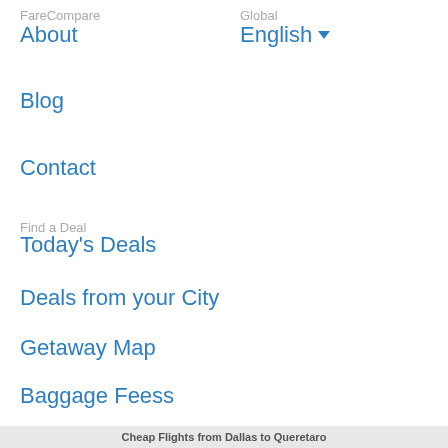FareCompare
Global
About
English ▼
Blog
Contact
Find a Deal
Today's Deals
Deals from your City
Getaway Map
Baggage Feess
[Figure (illustration): Social media icons: Facebook, Twitter, Instagram (all in light gray)]
Privacy   Terms   Sitemap
© Copyright 2006-2020 FareCompare.com. All rights reserved.
Cheap Flights from Dallas to Queretaro